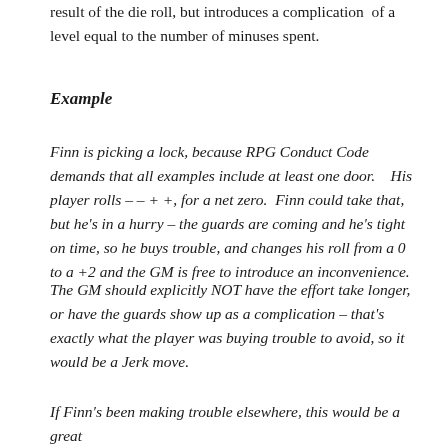result of the die roll, but introduces a complication of a level equal to the number of minuses spent.
Example
Finn is picking a lock, because RPG Conduct Code demands that all examples include at least one door.   His player rolls – – + +, for a net zero.  Finn could take that, but he's in a hurry – the guards are coming and he's tight on time, so he buys trouble, and changes his roll from a 0 to a +2 and the GM is free to introduce an inconvenience.
The GM should explicitly NOT have the effort take longer, or have the guards show up as a complication – that's exactly what the player was buying trouble to avoid, so it would be a Jerk move.
If Finn's been making trouble elsewhere, this would be a great